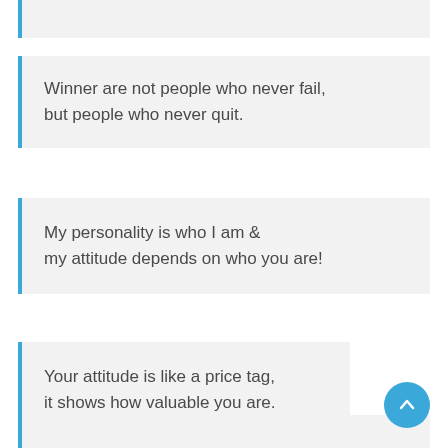Winner are not people who never fail, but people who never quit.
My personality is who I am & my attitude depends on who you are!
Your attitude is like a price tag, it shows how valuable you are.